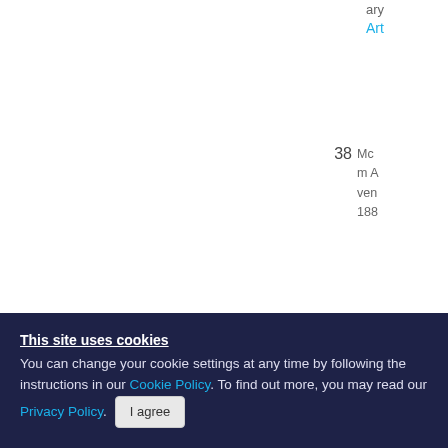ary
Art
38 Mc m A ven 188
39 She sma nam mo Pub
40 ...
This site uses cookies
You can change your cookie settings at any time by following the instructions in our Cookie Policy. To find out more, you may read our Privacy Policy.
I agree